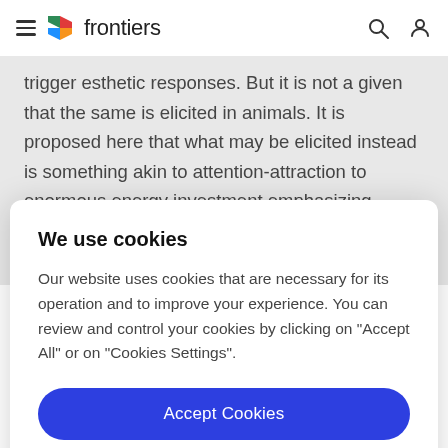frontiers
trigger esthetic responses. But it is not a given that the same is elicited in animals. It is proposed here that what may be elicited instead is something akin to attention-attraction to enormous energy investment emphasizing physical and genetic quality. In other words, focused
We use cookies
Our website uses cookies that are necessary for its operation and to improve your experience. You can review and control your cookies by clicking on "Accept All" or on "Cookies Settings".
Accept Cookies
Cookies Settings